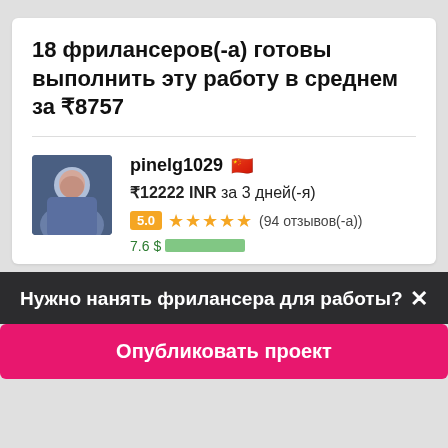18 фрилансеров(-а) готовы выполнить эту работу в среднем за ₹8757
pinelg1029 🇨🇳
₹12222 INR за 3 дней(-я)
5.0 ★★★★★ (94 отзывов(-а))
Нужно нанять фрилансера для работы?
Опубликовать проект